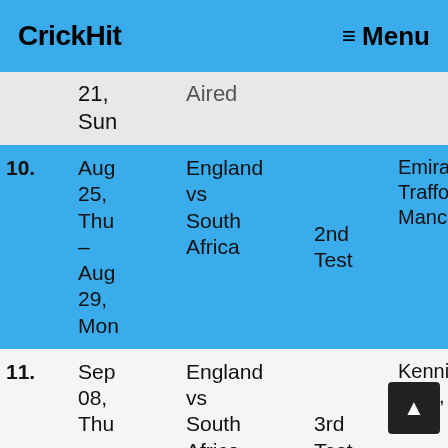CrickHit  ≡ Menu
| # | Date | Match | Type | Venue |
| --- | --- | --- | --- | --- |
|  | 21, Sun | Aired |  |  |
| 10. | Aug 25, Thu – Aug 29, Mon | England vs South Africa | 2nd Test | Emirates Old Trafford, Manchester |
| 11. | Sep 08, Thu – Sep 12, | England vs South Africa | 3rd Test | Kennington Oval, L |